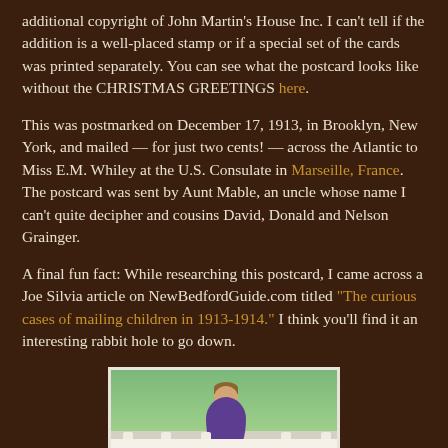additional copyright of John Martin's House Inc. I can't tell if the addition is a well-placed stamp or if a special set of the cards was printed separately. You can see what the postcard looks like without the CHRISTMAS GREETINGS here.
This was postmarked on December 17, 1913, in Brooklyn, New York, and mailed — for just two cents! — across the Atlantic to Miss E.M. Whiley at the U.S. Consulate in Marseille, France. The postcard was sent by Aunt Mable, an uncle whose name I can't quite decipher and cousins David, Donald and Nelson Grainger.
A final fun fact: While researching this postcard, I came across a Joe Silvia article on NewBedfordGuide.com titled "The curious cases of mailing children in 1913-1914." I think you'll find it an interesting rabbit hole to go down.
[Figure (illustration): A vintage postcard illustration showing a young child standing at a white railing/fence with a green landscape background, wearing a patterned dress/outfit. The bottom of the postcard shows decorative panels.]